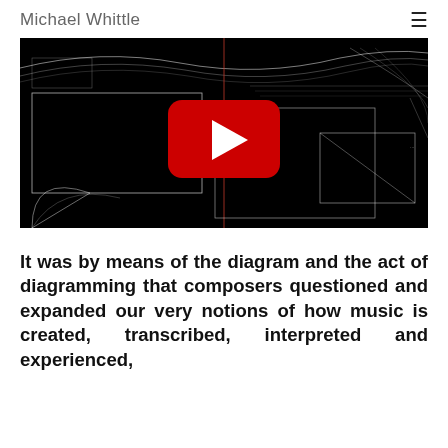Michael Whittle
[Figure (screenshot): YouTube video thumbnail showing a dark technical diagram/blueprint with white lines on black background. A red YouTube play button is centered on the image.]
It was by means of the diagram and the act of diagramming that composers questioned and expanded our very notions of how music is created, transcribed, interpreted and experienced,